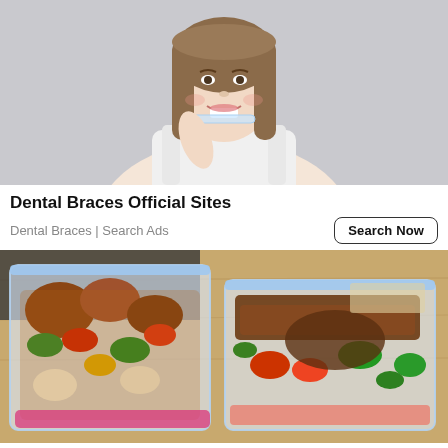[Figure (photo): Young woman smiling and holding a clear dental aligner/retainer, white top, gray background]
Dental Braces Official Sites
Dental Braces | Search Ads
[Figure (photo): Ziplock freezer bags filled with marinated meats and colorful vegetables on a wooden cutting board]